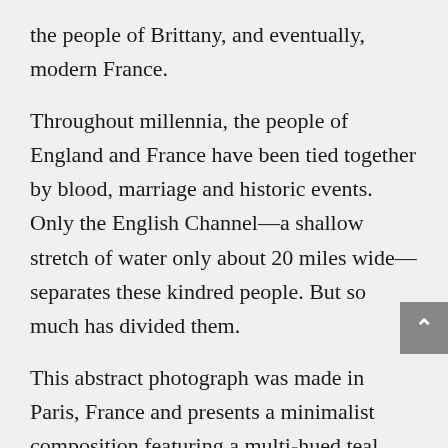the people of Brittany, and eventually, modern France.
Throughout millennia, the people of England and France have been tied together by blood, marriage and historic events. Only the English Channel—a shallow stretch of water only about 20 miles wide—separates these kindred people. But so much has divided them.
This abstract photograph was made in Paris, France and presents a minimalist composition featuring a multi-hued teal blue strip dropping down into a deep black background.
Fine art prints available on any material, in any size.